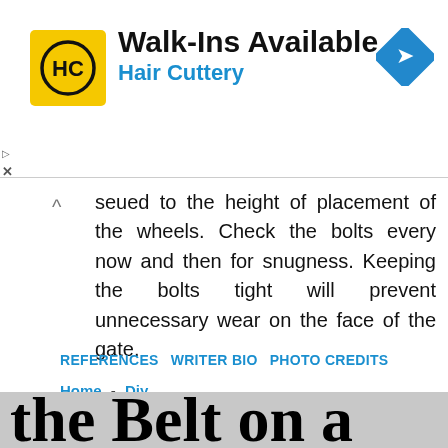[Figure (other): Advertisement banner for Hair Cuttery salon. Logo is yellow square with 'HC' text. Ad reads 'Walk-Ins Available / Hair Cuttery'. Blue diamond navigation icon on right.]
seued to the height of placement of the wheels. Check the bolts every now and then for snugness. Keeping the bolts tight will prevent unnecessary wear on the face of the gate.
REFERENCES   WRITER BIO   PHOTO CREDITS
Home - Diy
How to Replace the Belt on a